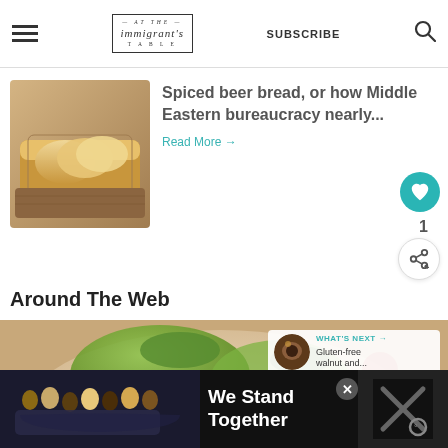at the immigrant's table — SUBSCRIBE
[Figure (photo): Sliced bread loaf on a wooden board]
Spiced beer bread, or how Middle Eastern bureaucracy nearly...
Read More →
Around The Web
[Figure (photo): Bowl of salad with egg, greens, radish and vegetables]
WHAT'S NEXT → Gluten-free walnut and...
[Figure (photo): Advertisement banner: We Stand Together with group photo]